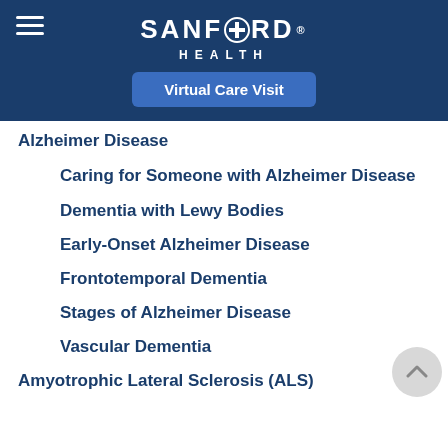SANFORD HEALTH
Virtual Care Visit
Alzheimer Disease
Caring for Someone with Alzheimer Disease
Dementia with Lewy Bodies
Early-Onset Alzheimer Disease
Frontotemporal Dementia
Stages of Alzheimer Disease
Vascular Dementia
Amyotrophic Lateral Sclerosis (ALS)